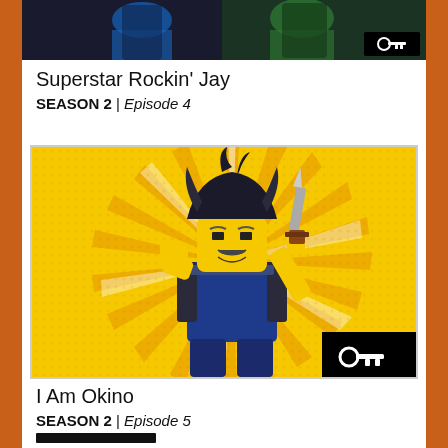[Figure (screenshot): Partial view of animated LEGO Ninjago characters on dark background with key icon overlay]
Superstar Rockin' Jay
SEASON 2 | Episode 4
[Figure (screenshot): LEGO Ninjago character Okino in samurai armor holding a blade, on a comic-style yellow sunburst background with key icon overlay]
I Am Okino
SEASON 2 | Episode 5